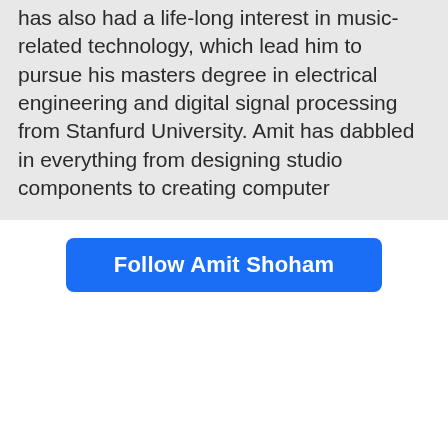has also had a life-long interest in music-related technology, which lead him to pursue his masters degree in electrical engineering and digital signal processing from Stanfurd University. Amit has dabbled in everything from designing studio components to creating computer
Follow Amit Shoham
[Figure (other): Black rectangle filling the lower portion of the page]